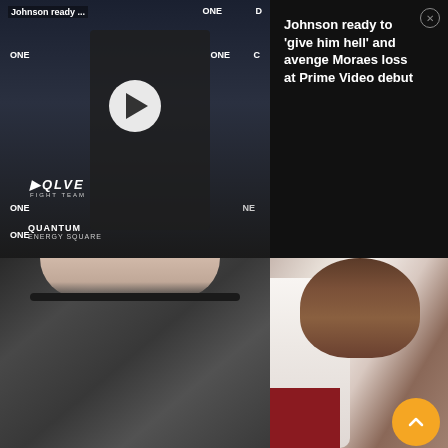[Figure (screenshot): Video thumbnail showing a man in front of ONE Championship backdrop with play button overlay, and article title panel on the right reading 'Johnson ready to give him hell and avenge Moraes loss at Prime Video debut']
[Figure (photo): Two side-by-side photos: left shows a close-up of a dark fabric dress neckline, right shows a bride in a white lace dress with upswept curly brown hair]
(But all his brides are princesses every day, let's not lie.)
The soft glam look justifies the bride's natural beauty in this one. Keeping it subtle with a neutral lip colour, but on